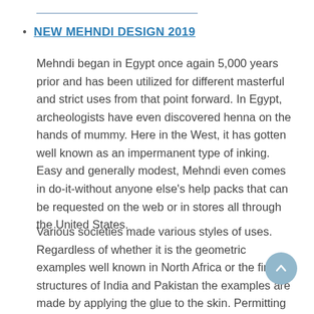NEW MEHNDI DESIGN 2019
Mehndi began in Egypt once again 5,000 years prior and has been utilized for different masterful and strict uses from that point forward. In Egypt, archeologists have even discovered henna on the hands of mummy. Here in the West, it has gotten well known as an impermanent type of inking. Easy and generally modest, Mehndi even comes in do-it-without anyone else’s help packs that can be requested on the web or in stores all through the United States.
Various societies made various styles of uses. Regardless of whether it is the geometric examples well known in North Africa or the fine structures of India and Pakistan the examples are made by applying the glue to the skin. Permitting the glue to dry stains the skin and brings the liveliness of the